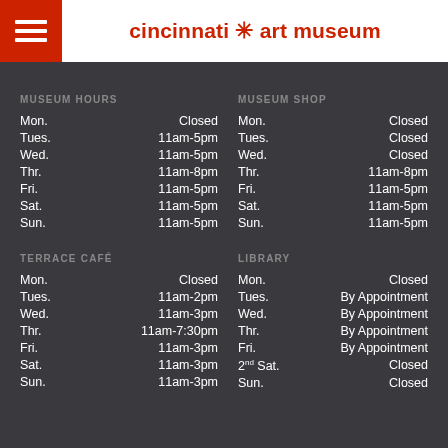cincinnati art museum
MUSEUM HOURS
| Day | Hours |
| --- | --- |
| Mon. | Closed |
| Tues. | 11am-5pm |
| Wed. | 11am-5pm |
| Thr. | 11am-8pm |
| Fri. | 11am-5pm |
| Sat. | 11am-5pm |
| Sun. | 11am-5pm |
MUSEUM SHOP
| Day | Hours |
| --- | --- |
| Mon. | Closed |
| Tues. | Closed |
| Wed. | Closed |
| Thr. | 11am-8pm |
| Fri. | 11am-5pm |
| Sat. | 11am-5pm |
| Sun. | 11am-5pm |
TERRACE CAFÉ
| Day | Hours |
| --- | --- |
| Mon. | Closed |
| Tues. | 11am-2pm |
| Wed. | 11am-3pm |
| Thr. | 11am-7:30pm |
| Fri. | 11am-3pm |
| Sat. | 11am-3pm |
| Sun. | 11am-3pm |
LIBRARY
| Day | Hours |
| --- | --- |
| Mon. | Closed |
| Tues. | By Appointment |
| Wed. | By Appointment |
| Thr. | By Appointment |
| Fri. | By Appointment |
| 2nd Sat. | Closed |
| Sun. | Closed |